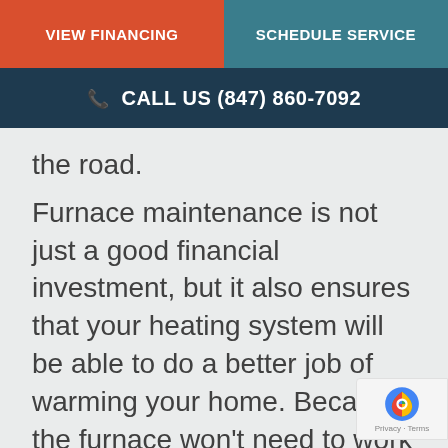VIEW FINANCING | SCHEDULE SERVICE
CALL US (847) 860-7092
the road.
Furnace maintenance is not just a good financial investment, but it also ensures that your heating system will be able to do a better job of warming your home. Because the furnace won't need to work so hard, your monthly heating bills should decrease as well. In many ca... the indoor air quality of your home wi...